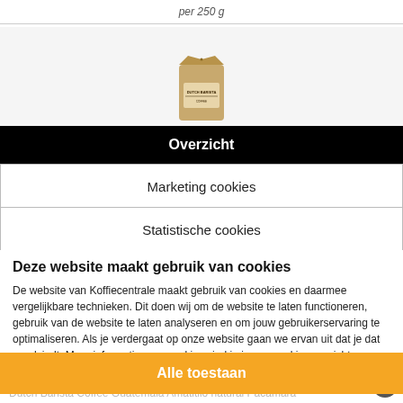per 250 g
[Figure (photo): Dutch Barista coffee bag product photo, brown kraft paper bag with Dutch Barista label]
Overzicht
Dutch Barista Coffee Masterblend 03 "the Roller coaster"
Marketing cookies
€ 8,25
Statistische cookies
Deze website maakt gebruik van cookies
De website van Koffiecentrale maakt gebruik van cookies en daarmee vergelijkbare technieken. Dit doen wij om de website te laten functioneren, gebruik van de website te laten analyseren en om jouw gebruikerservaring te optimaliseren. Als je verdergaat op onze website gaan we ervan uit dat je dat goedvindt. Meer informatie over cookies vind je in ons cookie overzicht.
Alle toestaan
Dutch Barista Coffee Guatemala Amatitlio natural Pacamara